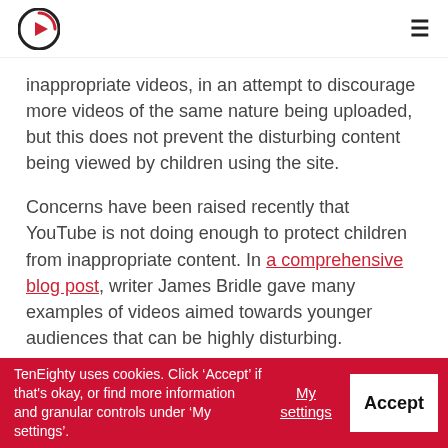TenEighty logo and hamburger menu
inappropriate videos, in an attempt to discourage more videos of the same nature being uploaded, but this does not prevent the disturbing content being viewed by children using the site.
Concerns have been raised recently that YouTube is not doing enough to protect children from inappropriate content. In a comprehensive blog post, writer James Bridle gave many examples of videos aimed towards younger audiences that can be highly disturbing.
It appears that this kind of content is using popular characters and trends to come out on top of the
TenEighty uses cookies. Click ‘Accept’ if that's okay, or find more information and granular controls under ‘My settings’. My settings Accept